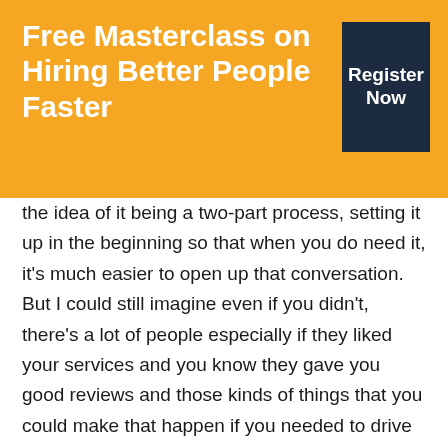Free Masterclass on Hiring Better People Faster
[Figure (other): Register Now button — dark navy rectangle with white bold text]
the idea of it being a two-part process, setting it up in the beginning so that when you do need it, it's much easier to open up that conversation. But I could still imagine even if you didn't, there's a lot of people especially if they liked your services and you know they gave you good reviews and those kinds of things that you could make that happen if you needed to drive sales quickly.

So hey Wendy, I've enjoyed our conversation